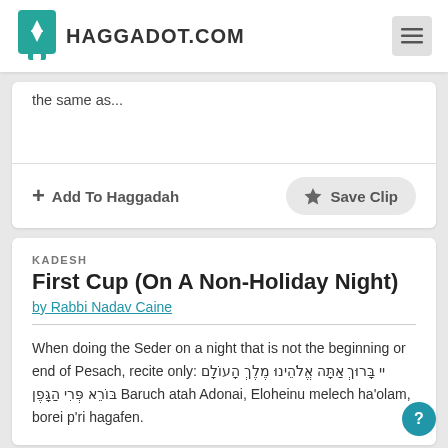HAGGADOT.COM
the same as...
+ Add To Haggadah   ★ Save Clip
KADESH
First Cup (On A Non-Holiday Night)
by Rabbi Nadav Caine
When doing the Seder on a night that is not the beginning or end of Pesach, recite only: יי בָּרוּךְ אַתָּה אֱלֹהֵינוּ מֶלֶךְ הָעוֹלָם בּוֹרֵא פְּרִי הַגָּפֶן Baruch atah Adonai, Eloheinu melech ha'olam, borei p'ri hagafen.